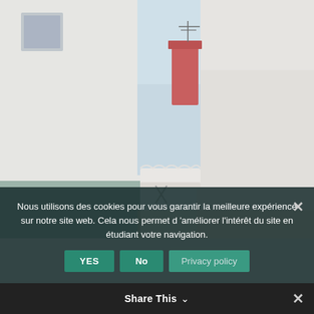[Figure (photo): Outdoor photo of white Mediterranean-style building walls with a narrow alley between them, a red chimney visible in the background, blue sky, and a teal/grey stone bench or ledge in the lower left foreground.]
Nous utilisons des cookies pour vous garantir la meilleure expérience sur notre site web. Cela nous permet d'améliorer l'intérêt du site en étudiant votre navigation.
YES   No   Privacy policy
Share This